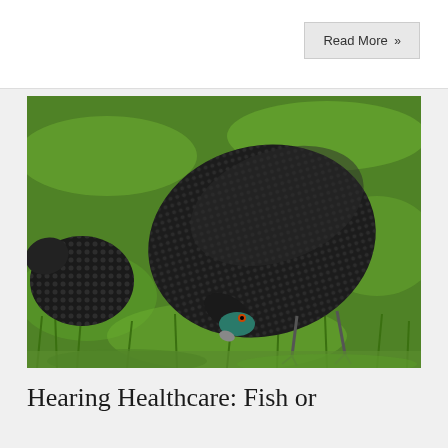Read More »
[Figure (photo): Two guinea fowl with dark speckled plumage grazing on bright green grass, photographed from above/side angle.]
Hearing Healthcare: Fish or